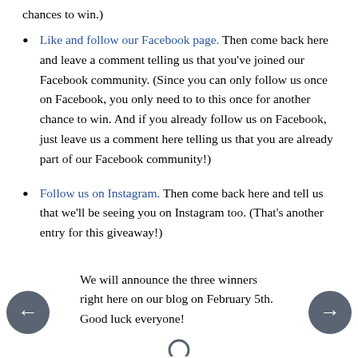chances to win.)
Like and follow our Facebook page. Then come back here and leave a comment telling us that you've joined our Facebook community. (Since you can only follow us once on Facebook, you only need to to this once for another chance to win. And if you already follow us on Facebook, just leave us a comment here telling us that you are already part of our Facebook community!)
Follow us on Instagram. Then come back here and tell us that we'll be seeing you on Instagram too. (That's another entry for this giveaway!)
We will announce the three winners right here on our blog on February 5th. Good luck everyone!